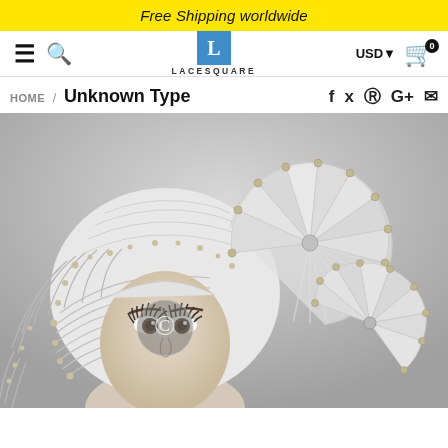Free Shipping worldwide
[Figure (screenshot): Navigation bar with hamburger menu, search icon, LACESQUARE logo, USD currency selector, and shopping cart with 0 items]
HOME / Unknown Type
[Figure (photo): A mannequin head wearing a silver/white fabric headwrap (gele) decorated with silver beads and large pleated fan/rosette ornaments on the side, with a circular copyright watermark overlay]